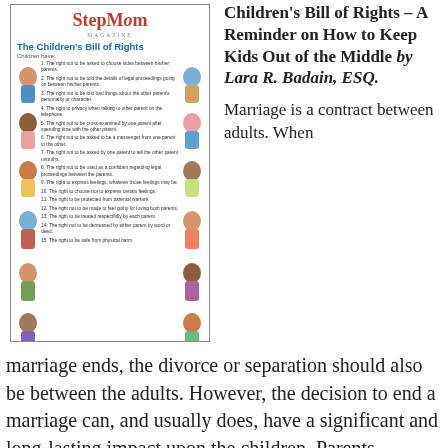[Figure (illustration): StepMom Magazine cover/page showing 'The Children's Bill of Rights' with diverse children photos around the margins]
Children's Bill of Rights – A Reminder on How to Keep Kids Out of the Middle by Lara R. Badain, ESQ.
Marriage is a contract between adults. When marriage ends, the divorce or separation should also be between the adults. However, the decision to end a marriage can, and usually does, have a significant and long-lasting impact upon the children. Parents